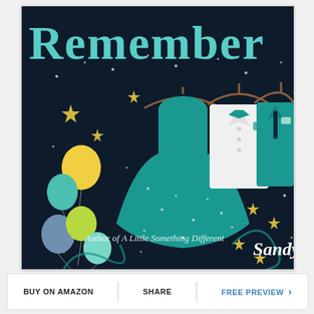[Figure (illustration): Book cover for 'Remember' by Sandy Hall. Dark navy/midnight blue background with gold stars and white dots scattered throughout. Large decorative teal text 'Remember' at the top. Center shows a teal/turquoise full-skirt party dress on a hanger. To the right are two suits hanging without visible heads: a white tuxedo with teal bow tie, and a teal suit with dark tie. Left side shows colorful balloons (yellow, teal, blue, green). Decorative teal swirl flourishes. Bottom text in white italic: 'Author of A Little Something Different Sandy Hall'.]
BUY ON AMAZON
SHARE
FREE PREVIEW ›